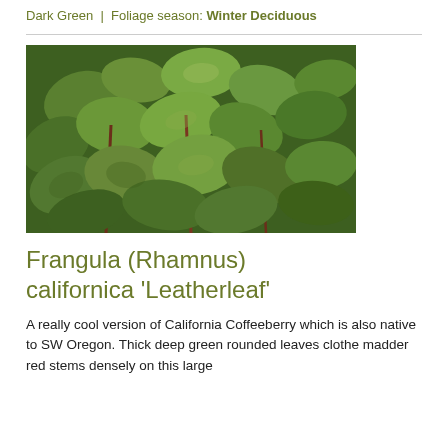Native: Willamette Valley Natives | Foliage color: Dark Green | Foliage season: Winter Deciduous
[Figure (photo): Close-up photograph of Frangula californica 'Leatherleaf' showing thick, dark green rounded leaves on reddish-brown stems]
Frangula (Rhamnus) californica 'Leatherleaf'
A really cool version of California Coffeeberry which is also native to SW Oregon. Thick deep green rounded leaves clothe madder red stems densely on this large